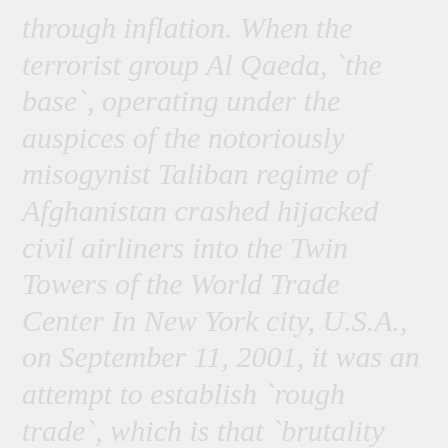through inflation. When the terrorist group Al Qaeda, `the base`, operating under the auspices of the notoriously misogynist Taliban regime of Afghanistan crashed hijacked civil airliners into the Twin Towers of the World Trade Center In New York city, U.S.A., on September 11, 2001, it was an attempt to establish `rough trade`, which is that `brutality and violence` associated with homosexuality in pederasty for war against human nature. Or, in other words, the economics of deflation is slavery; because new erections follow from